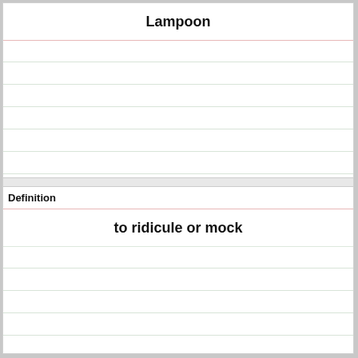Lampoon
Definition
to ridicule or mock